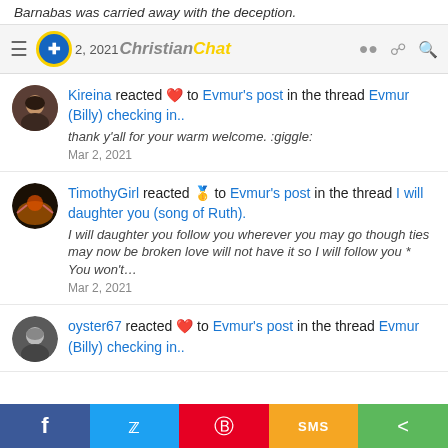Barnabas was carried away with the deception.
Mar 2, 2021 | Christian Chat
Kireina reacted ❤️ to Evmur's post in the thread Evmur (Billy) checking in.. thank y'all for your warm welcome. :giggle: Mar 2, 2021
TimothyGirl reacted 🥇 to Evmur's post in the thread I will daughter you (song of Ruth). I will daughter you follow you wherever you may go though ties may now be broken love will not have it so I will follow you * You won't... Mar 2, 2021
oyster67 reacted ❤️ to Evmur's post in the thread Evmur (Billy) checking in..